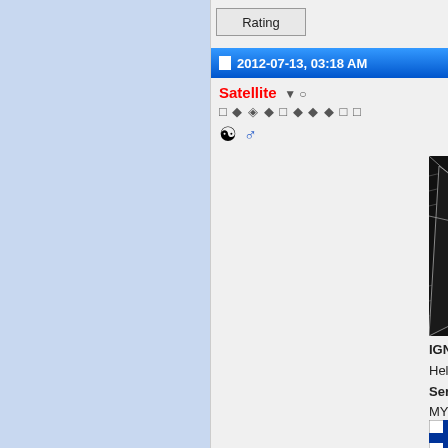Rating
2012-07-13, 03:18 AM
Satellite
[Figure (illustration): Black and white surrealist artwork showing a large eyeball with radiating wavy lines and dramatic angular shapes]
IGN: Helsinki
Server: MYBCKN
Level: 220
Job: Aran
Guild: Friends
Alliance: Unbreakable
[Figure (illustration): Finnish flag — white background with blue Nordic cross]